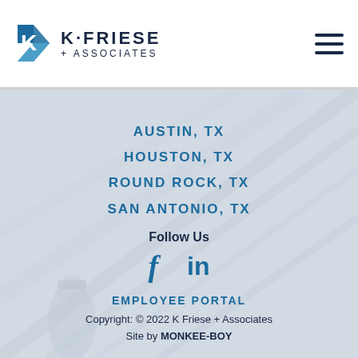[Figure (logo): K Friese + Associates logo with blue K diamond graphic and company name]
[Figure (photo): Background photo of structural steel beams/construction with a worker in hard hat visible, rendered in light gray/blue tones]
AUSTIN, TX
HOUSTON, TX
ROUND ROCK, TX
SAN ANTONIO, TX
Follow Us
[Figure (illustration): Facebook and LinkedIn social media icons in blue]
EMPLOYEE PORTAL
Copyright: © 2022 K Friese + Associates
Site by MONKEE-BOY